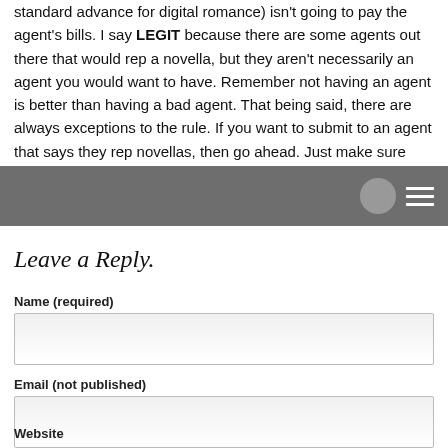standard advance for digital romance) isn't going to pay the agent's bills. I say LEGIT because there are some agents out there that would rep a novella, but they aren't necessarily an agent you would want to have. Remember not having an agent is better than having a bad agent. That being said, there are always exceptions to the rule. If you want to submit to an agent that says they rep novellas, then go ahead. Just make sure you research them VERY thoroughly first. Hope that helps!
[Figure (other): Gray navigation bar with avatar circle and hamburger menu icon]
Leave a Reply.
Name (required)
[Figure (other): Name input field]
Email (not published)
[Figure (other): Email input field]
Website